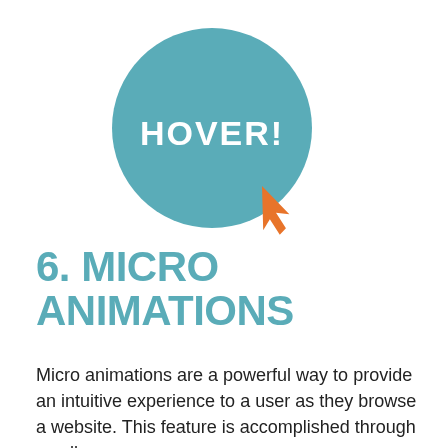[Figure (illustration): A teal circle with white bold text 'HOVER!' inside, with an orange cursor arrow pointing at it from the bottom right]
6. MICRO ANIMATIONS
Micro animations are a powerful way to provide an intuitive experience to a user as they browse a website. This feature is accomplished through small